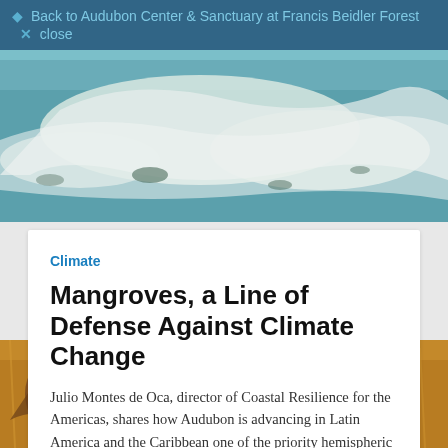Back to Audubon Center & Sanctuary at Francis Beidler Forest × close
[Figure (photo): Aerial photograph of coastal landscape with white sandy areas and teal-blue water]
Climate
Mangroves, a Line of Defense Against Climate Change
Julio Montes de Oca, director of Coastal Resilience for the Americas, shares how Audubon is advancing in Latin America and the Caribbean one of the priority hemispheric strategies.
[Figure (photo): Photo of birds in flight over golden grassy field]